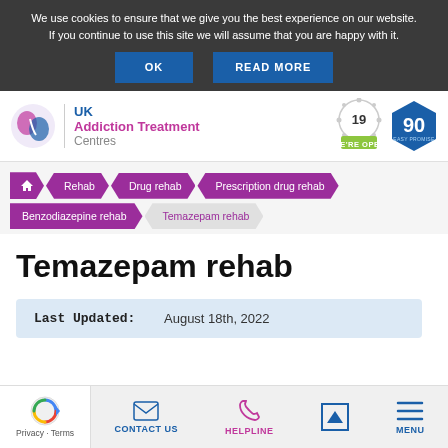We use cookies to ensure that we give you the best experience on our website. If you continue to use this site we will assume that you are happy with it.
OK | READ MORE
[Figure (logo): UK Addiction Treatment Centres logo with pink/blue circular icon, COVID-19 open badge and 90 easy promise hexagon badge]
[Figure (infographic): Breadcrumb navigation: Home > Rehab > Drug rehab > Prescription drug rehab / Benzodiazepine rehab > Temazepam rehab]
Temazepam rehab
Last Updated: August 18th, 2022
Privacy · Terms | CONTACT US | HELPLINE | MENU